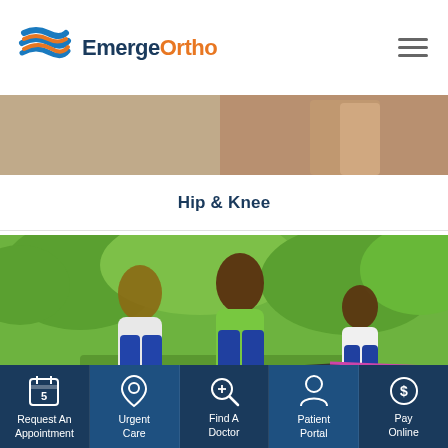[Figure (logo): EmergeOrtho logo with blue and orange wave graphic and text 'EmergeOrtho' in dark blue and orange]
[Figure (photo): Partial view of a person in a tan/beige background area, upper portion of a banner image]
Hip & Knee
[Figure (photo): Three generations of women (grandmother, mother, young girl) smiling outdoors with bicycles in a green park setting]
[Figure (infographic): Bottom navigation bar with five icons and labels: Request An Appointment, Urgent Care, Find A Doctor, Patient Portal, Pay Online]